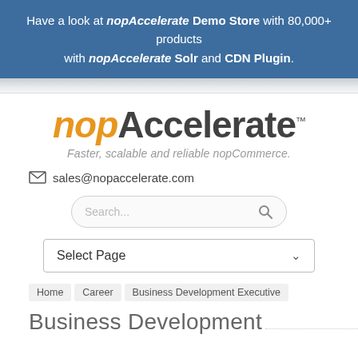Have a look at nopAccelerate Demo Store with 80,000+ products with nopAccelerate Solr and CDN Plugin.
[Figure (logo): nopAccelerate logo with italic orange 'nop' and bold dark 'Accelerate' and TM mark]
Faster, scalable and reliable nopCommerce.
sales@nopaccelerate.com
[Figure (screenshot): Search input box with placeholder 'Search...' and magnifying glass icon]
[Figure (screenshot): Select Page dropdown control]
Home > Career > Business Development Executive
Business Development